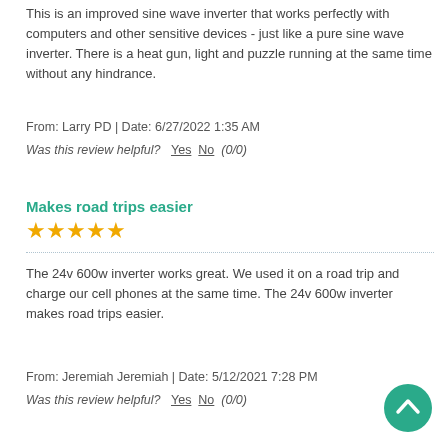This is an improved sine wave inverter that works perfectly with computers and other sensitive devices - just like a pure sine wave inverter. There is a heat gun, light and puzzle running at the same time without any hindrance.
From: Larry PD | Date: 6/27/2022 1:35 AM
Was this review helpful?  Yes  No  (0/0)
Makes road trips easier
[Figure (other): 5 gold stars rating]
The 24v 600w inverter works great. We used it on a road trip and charge our cell phones at the same time. The 24v 600w inverter makes road trips easier.
From: Jeremiah Jeremiah | Date: 5/12/2021 7:28 PM
Was this review helpful?  Yes  No  (0/0)